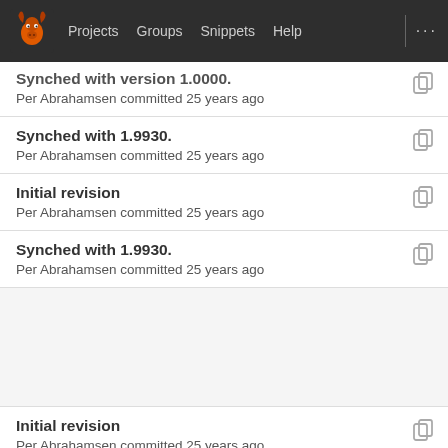Projects  Groups  Snippets  Help
Synched with version 1.0000.
Per Abrahamsen committed 25 years ago
Synched with 1.9930.
Per Abrahamsen committed 25 years ago
Initial revision
Per Abrahamsen committed 25 years ago
Synched with 1.9930.
Per Abrahamsen committed 25 years ago
Initial revision
Per Abrahamsen committed 25 years ago